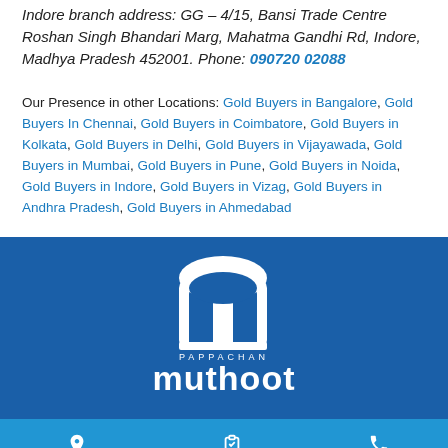Indore branch address: GG – 4/15, Bansi Trade Centre Roshan Singh Bhandari Marg, Mahatma Gandhi Rd, Indore, Madhya Pradesh 452001. Phone: 090720 02088
Our Presence in other Locations: Gold Buyers in Bangalore, Gold Buyers In Chennai, Gold Buyers in Coimbatore, Gold Buyers in Kolkata, Gold Buyers in Delhi, Gold Buyers in Vijayawada, Gold Buyers in Mumbai, Gold Buyers in Pune, Gold Buyers in Noida, Gold Buyers in Indore, Gold Buyers in Vizag, Gold Buyers in Andhra Pradesh, Gold Buyers in Ahmedabad
[Figure (logo): Pappachan Muthoot logo — white arch/building icon with 'PAPPACHAN' above 'muthoot' text on blue background]
LOCATE US   APPLY NOW   CALL US